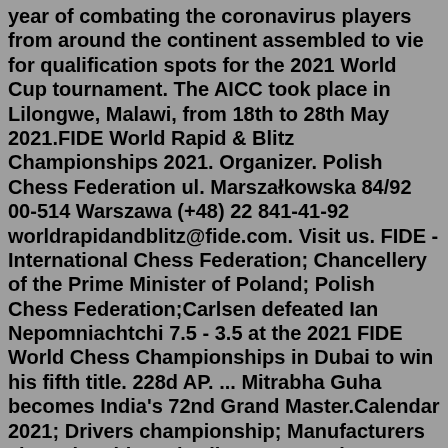year of combating the coronavirus players from around the continent assembled to vie for qualification spots for the 2021 World Cup tournament. The AICC took place in Lilongwe, Malawi, from 18th to 28th May 2021.FIDE World Rapid & Blitz Championships 2021. Organizer. Polish Chess Federation ul. Marszałkowska 84/92 00-514 Warszawa (+48) 22 841-41-92 worldrapidandblitz@fide.com. Visit us. FIDE - International Chess Federation; Chancellery of the Prime Minister of Poland; Polish Chess Federation;Carlsen defeated Ian Nepomniachtchi 7.5 - 3.5 at the 2021 FIDE World Chess Championships in Dubai to win his fifth title. 228d AP. ... Mitrabha Guha becomes India's 72nd Grand Master.Calendar 2021; Drivers championship; Manufacturers championship; Prize list; Motorcycle. Home Moto; Moto Calendar 2021; Moto GP; ... Grand Tour. Tour de France; Giro d'Italia; La Vuelta ciclista a España; Prize list TDF; World Champ. / WT ... Chess - World Cup - 2021 - Detailed results. Choice of a season :